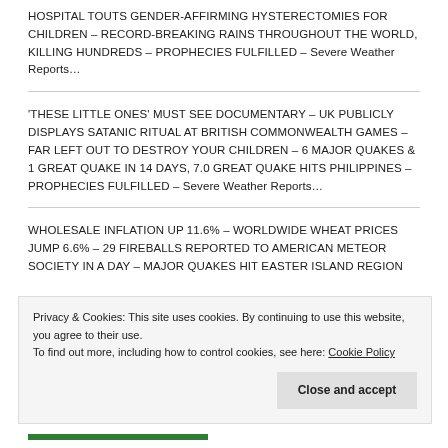HOSPITAL TOUTS GENDER-AFFIRMING HYSTERECTOMIES FOR CHILDREN – RECORD-BREAKING RAINS THROUGHOUT THE WORLD, KILLING HUNDREDS – PROPHECIES FULFILLED – Severe Weather Reports…
'THESE LITTLE ONES' MUST SEE DOCUMENTARY – UK PUBLICLY DISPLAYS SATANIC RITUAL AT BRITISH COMMONWEALTH GAMES – FAR LEFT OUT TO DESTROY YOUR CHILDREN – 6 MAJOR QUAKES & 1 GREAT QUAKE IN 14 DAYS, 7.0 GREAT QUAKE HITS PHILIPPINES – PROPHECIES FULFILLED – Severe Weather Reports…
WHOLESALE INFLATION UP 11.6% – WORLDWIDE WHEAT PRICES JUMP 6.6% – 29 FIREBALLS REPORTED TO AMERICAN METEOR SOCIETY IN A DAY – MAJOR QUAKES HIT EASTER ISLAND REGION
Privacy & Cookies: This site uses cookies. By continuing to use this website, you agree to their use. To find out more, including how to control cookies, see here: Cookie Policy